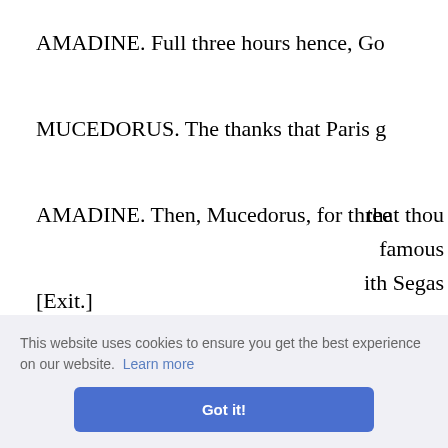AMADINE. Full three hours hence, Go
MUCEDORUS. The thanks that Paris g
AMADINE. Then, Mucedorus, for three
[Exit.]
MUCEDORUS. Your departure, lady, b
[Exit.]
ACT III. SCENE II. The Court.
that thou
famous
th Segas
This website uses cookies to ensure you get the best experience on our website. Learn more
Got it!